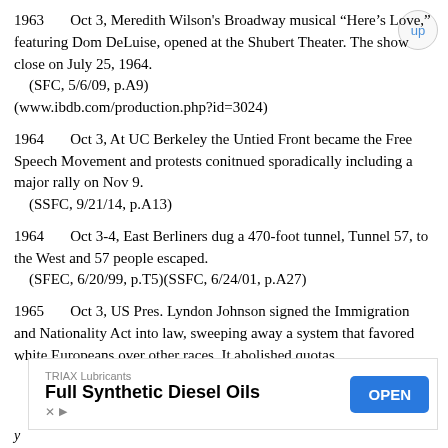1963     Oct 3, Meredith Wilson's Broadway musical “Here’s Love,” featuring Dom DeLuise, opened at the Shubert Theater. The show close on July 25, 1964.
    (SFC, 5/6/09, p.A9)
(www.ibdb.com/production.php?id=3024)
1964     Oct 3, At UC Berkeley the Untied Front became the Free Speech Movement and protests conitnued sporadically including a major rally on Nov 9.
    (SSFC, 9/21/14, p.A13)
1964     Oct 3-4, East Berliners dug a 470-foot tunnel, Tunnel 57, to the West and 57 people escaped.
    (SFEC, 6/20/99, p.T5)(SSFC, 6/24/01, p.A27)
1965     Oct 3, US Pres. Lyndon Johnson signed the Immigration and Nationality Act into law, sweeping away a system that favored white Europeans over other races. It abolished quotas
[Figure (other): Advertisement banner: TRIAX Lubricants - Full Synthetic Diesel Oils with OPEN button]